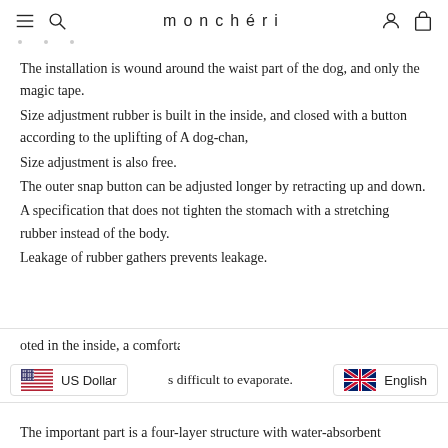monchéri
The installation is wound around the waist part of the dog, and only the magic tape.
Size adjustment rubber is built in the inside, and closed with a button according to the uplifting of A dog-chan,
Size adjustment is also free.
The outer snap button can be adjusted longer by retracting up and down.
A specification that does not tighten the stomach with a stretching rubber instead of the body.
Leakage of rubber gathers prevents leakage.
oted in the inside, a comfortable m... s difficult to evaporate.
The important part is a four-layer structure with water-absorbent
US Dollar    English